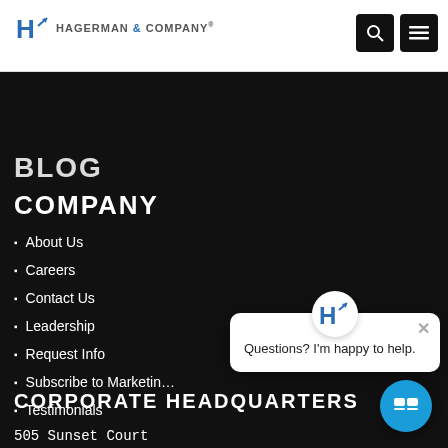[Figure (logo): Hagerman & Company logo with stylized H icon and company name]
BLOG
COMPANY
About Us
Careers
Contact Us
Leadership
Request Info
Subscribe to Marketing
Testimonials
CORPORATE HEADQUARTERS
505 Sunset Court
Mt. Zion, IL 62549
[Figure (screenshot): Chat popup widget with Hagerman logo icon and text 'Questions? I'm happy to help.' with a close button]
[Figure (screenshot): Teal circular chat button in bottom right corner]